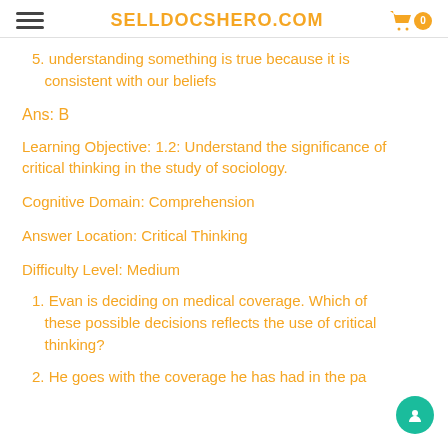SELLDOCSHERO.COM
5. understanding something is true because it is consistent with our beliefs
Ans: B
Learning Objective: 1.2: Understand the significance of critical thinking in the study of sociology.
Cognitive Domain: Comprehension
Answer Location: Critical Thinking
Difficulty Level: Medium
1. Evan is deciding on medical coverage. Which of these possible decisions reflects the use of critical thinking?
2. He goes with the coverage he has had in the pa...